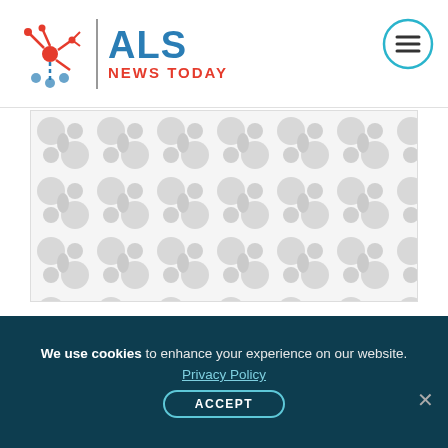ALS NEWS TODAY
[Figure (illustration): Placeholder image with grey abstract bubble/dot pattern on white background]
They identified that the cerebrospinal fluid levels of pNfH and CHIT were significantly higher in patients compared to controls, and pNfH levels, specifically, correlated with ALS severity and progression. This biomarker, indeed, allowed the researchers to distinguish ALS patients from
We use cookies to enhance your experience on our website. Privacy Policy ACCEPT